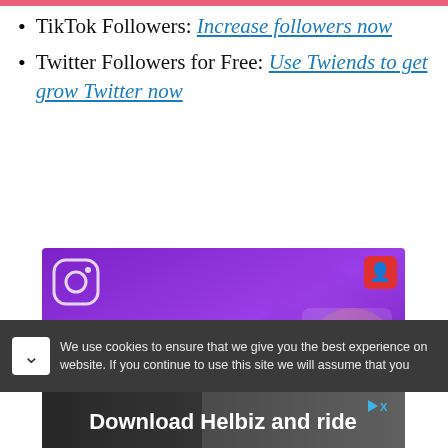TikTok Followers: Increase followers now
Twitter Followers for Free: Use Twiends to get grow Twitter now
[Figure (illustration): Purple advertisement banner for Instagram followers service showing 'REAL & ACTIVE INSTAGRAM FOLLOWERS' text with a woman holding a phone, Instagram icon, and notification icon]
We use cookies to ensure that we give you the best experience on website. If you continue to use this site we will assume that you
[Figure (illustration): Advertisement banner for Helbiz with text 'Download Helbiz and ride' showing an electric scooter, with a play button/ad badge in top right]